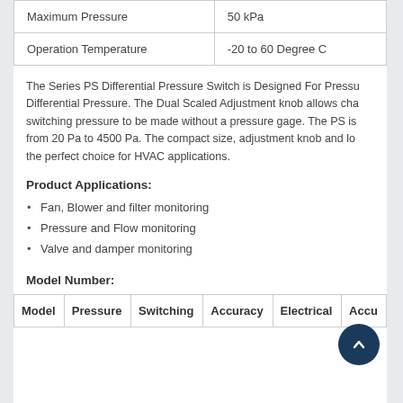|  |  |
| --- | --- |
| Maximum Pressure | 50 kPa |
| Operation Temperature | -20 to 60 Degree C |
The Series PS Differential Pressure Switch is Designed For Pressure Differential Pressure. The Dual Scaled Adjustment knob allows changing switching pressure to be made without a pressure gage. The PS is adjustable from 20 Pa to 4500 Pa. The compact size, adjustment knob and low cost make the perfect choice for HVAC applications.
Product Applications:
Fan, Blower and filter monitoring
Pressure and Flow monitoring
Valve and damper monitoring
Model Number:
| Model | Pressure | Switching | Accuracy | Electrical | Accu... |
| --- | --- | --- | --- | --- | --- |